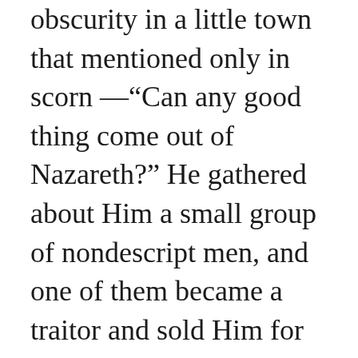obscurity in a little town that mentioned only in scorn —“Can any good thing come out of Nazareth?” He gathered about Him a small group of nondescript men, and one of them became a traitor and sold Him for the price of a slave. He was called a liar, a glutton, a drunkard, and a man in league with the